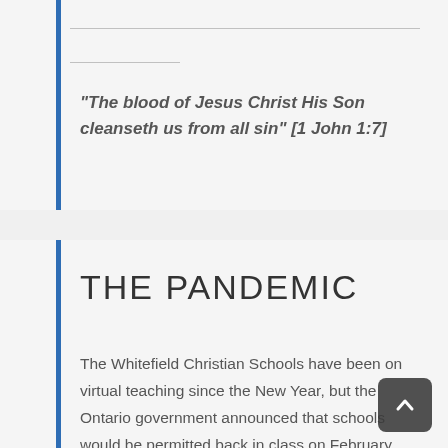“The blood of Jesus Christ His Son cleanseth us from all sin” [1 John 1:7]
THE PANDEMIC
The Whitefield Christian Schools have been on virtual teaching since the New Year, but the Ontario government announced that schools would be permitted back in class on February 16.  Staff and students are